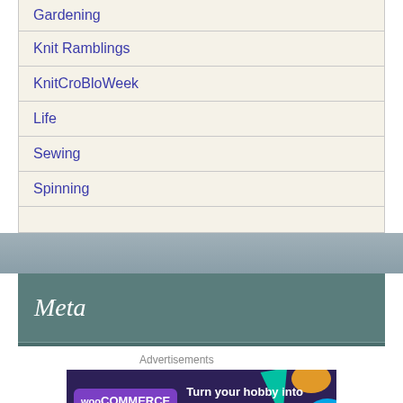Gardening
Knit Ramblings
KnitCroBloWeek
Life
Sewing
Spinning
Meta
Advertisements
[Figure (other): WooCommerce advertisement banner: Turn your hobby into a business in 8 steps]